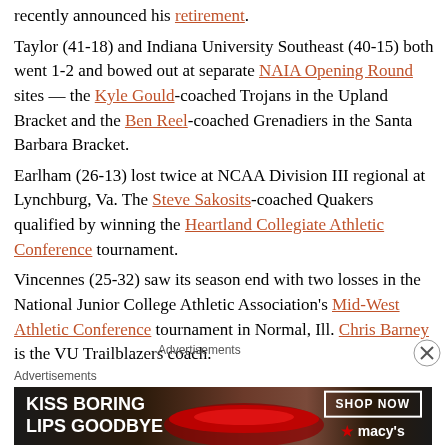recently announced his retirement. Taylor (41-18) and Indiana University Southeast (40-15) both went 1-2 and bowed out at separate NAIA Opening Round sites — the Kyle Gould-coached Trojans in the Upland Bracket and the Ben Reel-coached Grenadiers in the Santa Barbara Bracket.
Earlham (26-13) lost twice at NCAA Division III regional at Lynchburg, Va. The Steve Sakosits-coached Quakers qualified by winning the Heartland Collegiate Athletic Conference tournament.
Vincennes (25-32) saw its season end with two losses in the National Junior College Athletic Association's Mid-West Athletic Conference tournament in Normal, Ill. Chris Barney is the VU Trailblazers coach.
Advertisements
Advertisements
[Figure (photo): Macy's advertisement banner: KISS BORING LIPS GOODBYE with SHOP NOW button and macys logo]